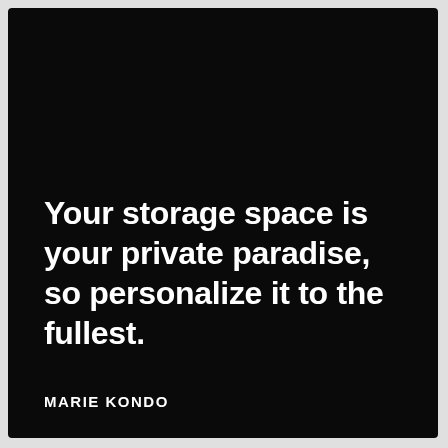Your storage space is your private paradise, so personalize it to the fullest.
MARIE KONDO